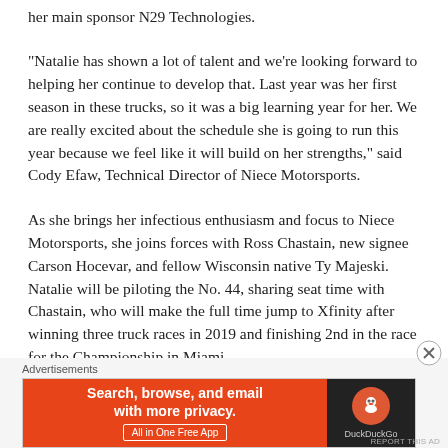her main sponsor N29 Technologies.
“Natalie has shown a lot of talent and we’re looking forward to helping her continue to develop that. Last year was her first season in these trucks, so it was a big learning year for her. We are really excited about the schedule she is going to run this year because we feel like it will build on her strengths,” said Cody Efaw, Technical Director of Niece Motorsports.
As she brings her infectious enthusiasm and focus to Niece Motorsports, she joins forces with Ross Chastain, new signee Carson Hocevar, and fellow Wisconsin native Ty Majeski. Natalie will be piloting the No. 44, sharing seat time with Chastain, who will make the full time jump to Xfinity after winning three truck races in 2019 and finishing 2nd in the race for the Championship in Miami.
Advertisements
[Figure (screenshot): DuckDuckGo advertisement banner. Left side orange background with white text: 'Search, browse, and email with more privacy.' and 'All in One Free App' button. Right side dark background with DuckDuckGo logo and text 'DuckDuckGo'.]